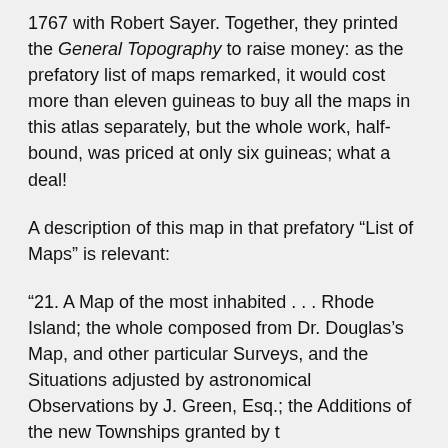1767 with Robert Sayer. Together, they printed the General Topography to raise money: as the prefatory list of maps remarked, it would cost more than eleven guineas to buy all the maps in this atlas separately, but the whole work, half-bound, was priced at only six guineas; what a deal!
A description of this map in that prefatory “List of Maps” is relevant:
“21. A Map of the most inhabited . . . Rhode Island; the whole composed from Dr. Douglas’s Map, and other particular Surveys, and the Situations adjusted by astronomical Observations by J. Green, Esq.; the Additions of the new Townships granted by t